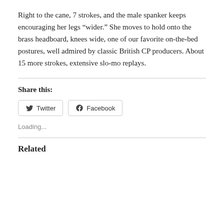Right to the cane, 7 strokes, and the male spanker keeps encouraging her legs “wider.” She moves to hold onto the brass headboard, knees wide, one of our favorite on-the-bed postures, well admired by classic British CP producers. About 15 more strokes, extensive slo-mo replays.
Share this:
Twitter  Facebook
Loading...
Related